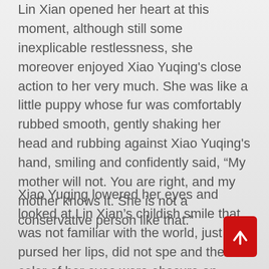Lin Xian opened her heart at this moment, although still some inexplicable restlessness, she moreover enjoyed Xiao Yuqing's close action to her very much. She was like a little puppy whose fur was comfortably rubbed smooth, gently shaking her head and rubbing against Xiao Yuqing's hand, smiling and confidently said, “My mother will not. You are right, and my mother knows it. She is not a conservative person like that.”
Xiao Yuqing lowered her eyes and looked at Lin Xian’s childish smile that was not familiar with the world, just pursed her lips, did not spe… and the color of her eyes were obscure an… difficult to understand.